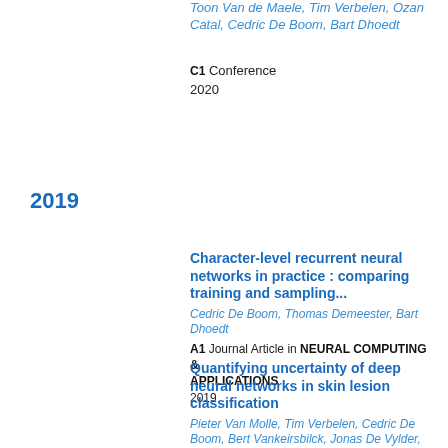Toon Van de Maele, Tim Verbelen, Ozan Catal, Cedric De Boom, Bart Dhoedt
C1 Conference
2020
2019
Character-level recurrent neural networks in practice : comparing training and sampling...
Cedric De Boom, Thomas Demeester, Bart Dhoedt
A1 Journal Article in NEURAL COMPUTING & APPLICATIONS
2019
Quantifying uncertainty of deep neural networks in skin lesion classification
Pieter Van Molle, Tim Verbelen, Cedric De Boom, Bert Vankeirsbilck, Jonas De Vylder, Bart Diricx, Tom Kimp...